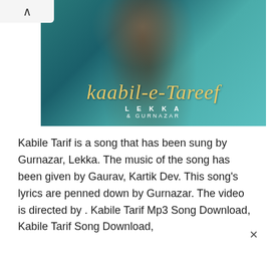[Figure (illustration): Album art for 'Kaabil-E-Tareef' by Lekka and Gurnazar. Teal/turquoise colored background with a woman's face and dark hair. Gold script text reads 'kaabil-e-Tareef' and below in white uppercase letters 'LEKKA' and '& GURNAZAR'.]
Kabile Tarif is a song that has been sung by Gurnazar, Lekka. The music of the song has been given by Gaurav, Kartik Dev. This song's lyrics are penned down by Gurnazar. The video is directed by . Kabile Tarif Mp3 Song Download, Kabile Tarif Song Download,